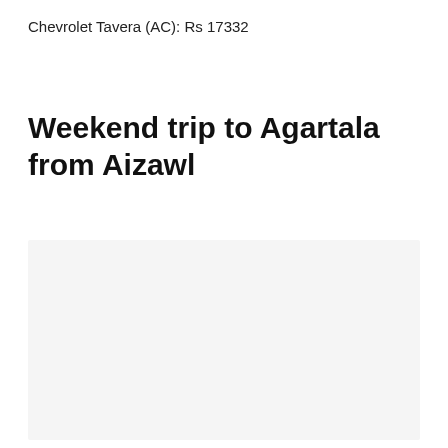Chevrolet Tavera (AC): Rs 17332
Weekend trip to Agartala from Aizawl
[Figure (other): Light gray placeholder box, likely an image area]